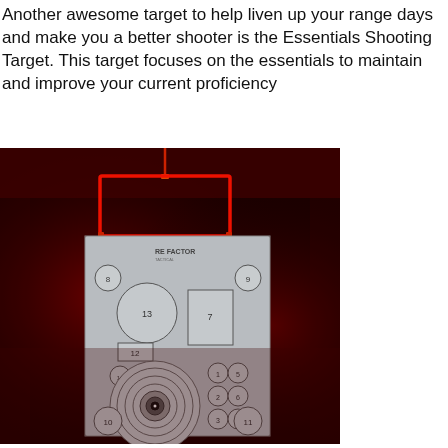Another awesome target to help liven up your range days and make you a better shooter is the Essentials Shooting Target. This target focuses on the essentials to maintain and improve your current proficiency
[Figure (photo): A photograph of the Essentials Shooting Target (RE Factor Tactical) hanging on a range, glowing red ambient background. The metallic target shows multiple numbered zones: circles, rectangles, and a bullseye target with concentric rings, numbered 1-14 with small circles at corners and edges.]